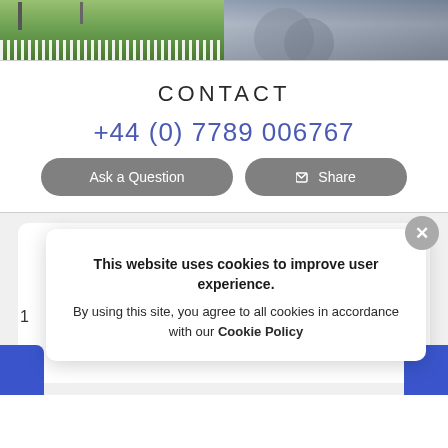[Figure (photo): Two photos side by side: left shows an outdoor scene with green trees, white fence, and a lamppost; right shows an aerial/overhead view of stacked plates or circular objects.]
CONTACT
+44 (0) 7789 006767
Ask a Question
Share
This website uses cookies to improve user experience. By using this site, you agree to all cookies in accordance with our Cookie Policy